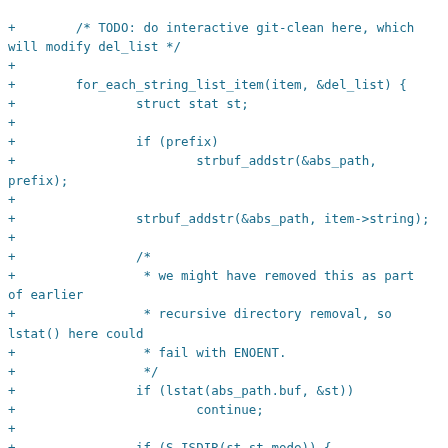+        /* TODO: do interactive git-clean here, which will modify del_list */
+
+        for_each_string_list_item(item, &del_list) {
+                struct stat st;
+
+                if (prefix)
+                        strbuf_addstr(&abs_path, prefix);
+
+                strbuf_addstr(&abs_path, item->string);
+
+                /*
+                 * we might have removed this as part of earlier
+                 * recursive directory removal, so lstat() here could
+                 * fail with ENOENT.
+                 */
+                if (lstat(abs_path.buf, &st))
+                        continue;
+
+                if (S_ISDIR(st.st_mode)) {
+                        if (remove_dirs(&abs_path, prefix, rm_flags, dry_run, quiet, &gone))
+                                errors++;
+                        if (gone && !quiet) {
+                                qname = quote_path_relative(item->string, NULL, &buf);
+                                printf(dry_run ?